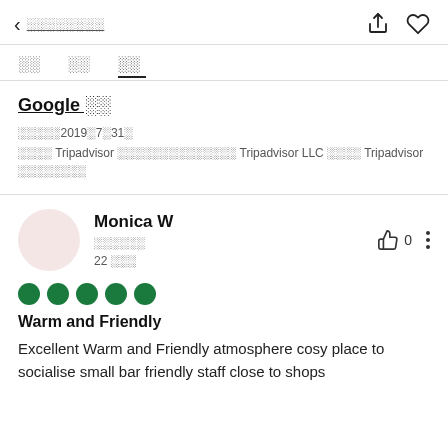< ░░░░░░░░
░░  ░░  ░░
Google ░░
░░░░░2019░7░31░
░░░░ Tripadvisor ░░░░░░░░░░░░░░ Tripadvisor LLC ░░░░ Tripadvisor ░░░░░░░░
Monica W
░░░░░░
22 ░░░
●●●●●
Warm and Friendly
Excellent Warm and Friendly atmosphere cosy place to socialise small bar friendly staff close to shops